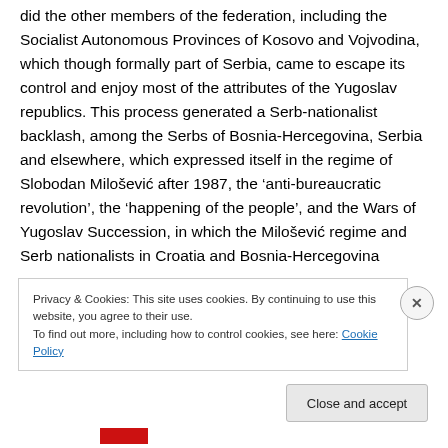did the other members of the federation, including the Socialist Autonomous Provinces of Kosovo and Vojvodina, which though formally part of Serbia, came to escape its control and enjoy most of the attributes of the Yugoslav republics. This process generated a Serb-nationalist backlash, among the Serbs of Bosnia-Hercegovina, Serbia and elsewhere, which expressed itself in the regime of Slobodan Milošević after 1987, the ‘anti-bureaucratic revolution’, the ‘happening of the people’, and the Wars of Yugoslav Succession, in which the Milošević regime and Serb nationalists in Croatia and Bosnia-Hercegovina
Privacy & Cookies: This site uses cookies. By continuing to use this website, you agree to their use.
To find out more, including how to control cookies, see here: Cookie Policy